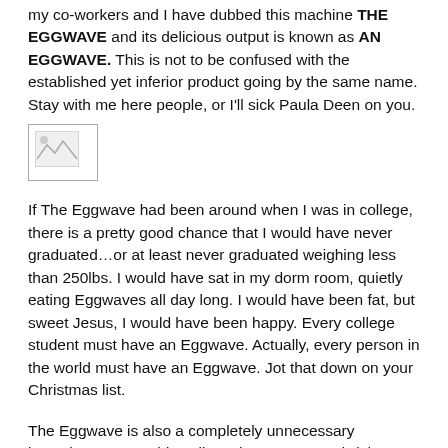my co-workers and I have dubbed this machine THE EGGWAVE and its delicious output is known as AN EGGWAVE. This is not to be confused with the established yet inferior product going by the same name. Stay with me here people, or I'll sick Paula Deen on you.
[Figure (photo): Small image placeholder (broken/missing image icon)]
If The Eggwave had been around when I was in college, there is a pretty good chance that I would have never graduated…or at least never graduated weighing less than 250lbs. I would have sat in my dorm room, quietly eating Eggwaves all day long. I would have been fat, but sweet Jesus, I would have been happy. Every college student must have an Eggwave. Actually, every person in the world must have an Eggwave. Jot that down on your Christmas list.
The Eggwave is also a completely unnecessary invention. One could easily make an egg sandwich without the aid of this contraption. However, the experience would not rule nearly as much as putting all of your fixins in one fancy robot, hitting a button, and commencing the twiddling of the thumbs for approximately 2 minutes while your most…